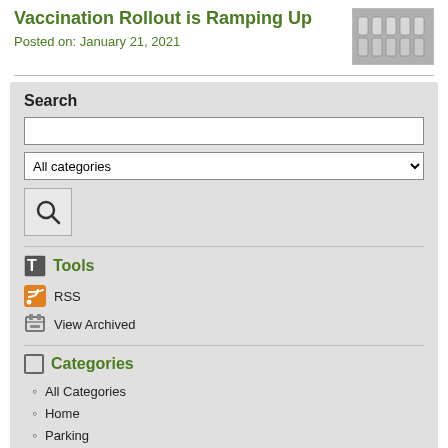Vaccination Rollout is Ramping Up
Posted on: January 21, 2021
[Figure (photo): Small thumbnail photo of vaccine vials in rows, gray/silver tones]
Search
All categories (dropdown)
Tools
RSS
View Archived
Categories
All Categories
Home
Parking
Transportation & Public Works - News
Recreation & Parks
Emergency_COVID19